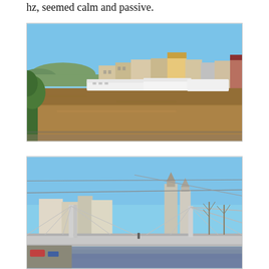hz, seemed calm and passive.
[Figure (photo): Panoramic view of a wide brownish river (likely the Danube near Passau) with historic multi-storey buildings along the far bank, river cruise ships moored, trees in foreground, blue sky.]
[Figure (photo): View of a cable-stayed pedestrian bridge over a river in Passau, Germany, with church towers and historic buildings visible in the background, blue sky.]